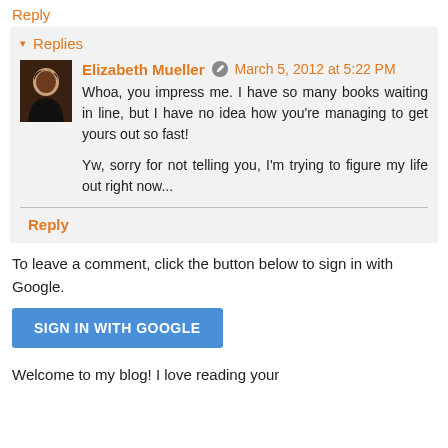Reply
▾ Replies
Elizabeth Mueller  March 5, 2012 at 5:22 PM
Whoa, you impress me. I have so many books waiting in line, but I have no idea how you're managing to get yours out so fast!

Yw, sorry for not telling you, I'm trying to figure my life out right now...
Reply
To leave a comment, click the button below to sign in with Google.
[Figure (other): SIGN IN WITH GOOGLE button]
Welcome to my blog! I love reading your